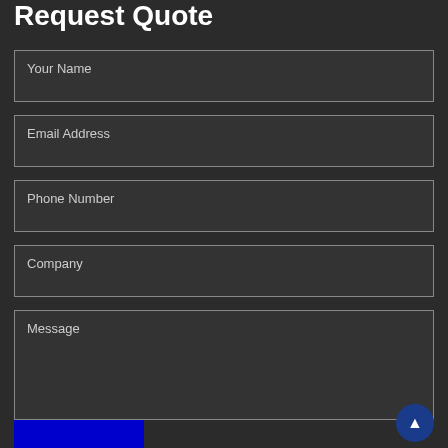Request Quote
Your Name
Email Address
Phone Number
Company
Message